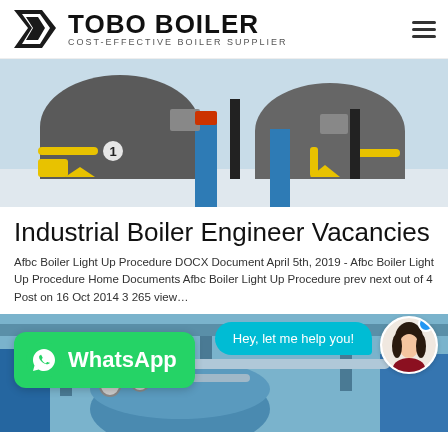[Figure (logo): Tobo Boiler logo with black geometric icon and text TOBO BOILER / COST-EFFECTIVE BOILER SUPPLIER]
[Figure (photo): Industrial boiler room with large cylindrical boilers, yellow and blue piping]
Industrial Boiler Engineer Vacancies
Afbc Boiler Light Up Procedure DOCX Document April 5th, 2019 - Afbc Boiler Light Up Procedure Home Documents Afbc Boiler Light Up Procedure prev next out of 4 Post on 16 Oct 2014 3 265 view…
[Figure (screenshot): Chat bubble saying 'Hey, let me help you!' with female avatar, and WhatsApp button overlay, above a second boiler room photo]